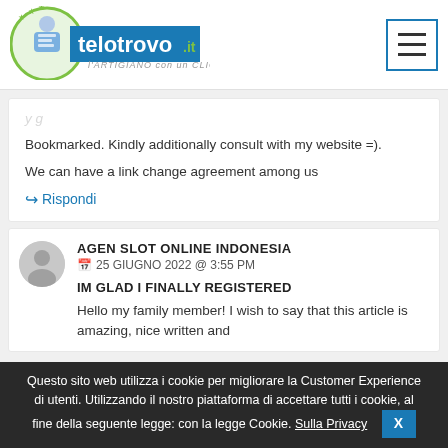[Figure (logo): Telotrovo.it logo with tagline 'L'ARTIGIANO con un CLICK']
Bookmarked. Kindly additionally consult with my website =).

We can have a link change agreement among us
↪ Rispondi
AGEN SLOT ONLINE INDONESIA
📅 25 GIUGNO 2022 @ 3:55 PM
IM GLAD I FINALLY REGISTERED
Hello my family member! I wish to say that this article is amazing, nice written and
Questo sito web utilizza i cookie per migliorare la Customer Experience di utenti. Utilizzando il nostro piattaforma di accettare tutti i cookie, al fine della seguente legge: con la legge Cookie. Sulla Privacy  X